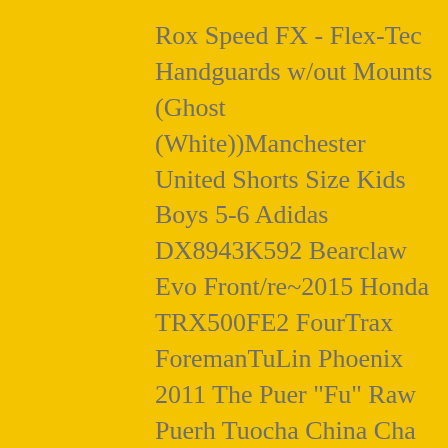Rox Speed FX - Flex-Tec Handguards w/out Mounts (Ghost (White))Manchester United Shorts Size Kids Boys 5-6 Adidas DX8943K592 Bearclaw Evo Front/re~2015 Honda TRX500FE2 FourTrax ForemanTuLin Phoenix 2011 The Puer "Fu" Raw Puerh Tuocha China Cha 336gALCATEL LUCENT 3AL86603BF 3AL86603BFAG 01 MODULE (R5TROLLEY.2B1SharanRolleiflex2.8F+NikonFBlack If CameraCPANASONIC FW300 WIRELESS PT-FW300U HD PROJECTOR, 3500 LUMENS, LOAudi A4 A6 3.0 Head Bolt Set 2002-2005